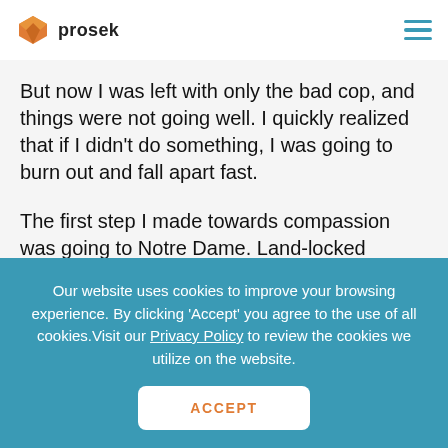prosek
But now I was left with only the bad cop, and things were not going well. I quickly realized that if I didn't do something, I was going to burn out and fall apart fast.
The first step I made towards compassion was going to Notre Dame. Land-locked Indiana did not make much sense for a budding marine biologist, but I
Our website uses cookies to improve your browsing experience. By clicking 'Accept' you agree to the use of all cookies.Visit our Privacy Policy to review the cookies we utilize on the website.